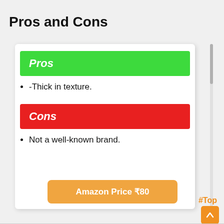Pros and Cons
Pros
-Thick in texture.
Cons
Not a well-known brand.
Amazon Price ₹80
#Top